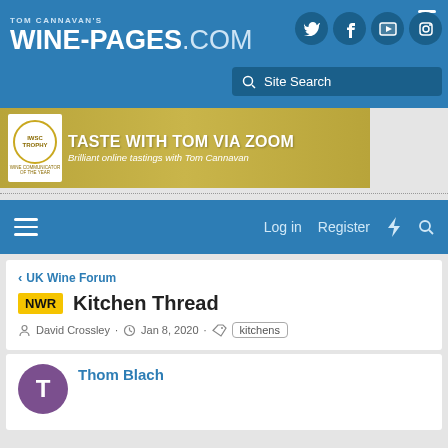TOM CANNAVAN'S WINE-PAGES.COM
[Figure (screenshot): Navigation bar with social media icons (Twitter, Facebook, YouTube, Instagram) and site search bar]
[Figure (infographic): Advertisement banner: TASTE WITH TOM VIA ZOOM - Brilliant online tastings with Tom Cannavan, with IWSC trophy logo]
UK Wine Forum
NWR Kitchen Thread
David Crossley · Jan 8, 2020 · kitchens
Thom Blach